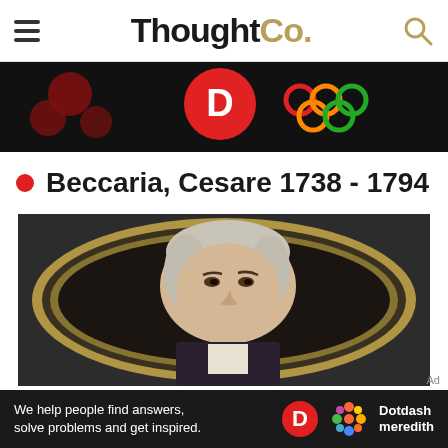ThoughtCo.
[Figure (other): Advertisement banner with dark background, red circles, colorful Olympic-style rings, and a red 'D' logo on black background]
Beccaria, Cesare 1738 - 1794
[Figure (photo): Historical oval-framed portrait painting of Cesare Beccaria (1738-1794), showing a middle-aged man with powdered wig, looking slightly to the right, in 18th century attire, set in a gilded oval frame]
[Figure (other): Bottom advertisement bar: 'We help people find answers, solve problems and get inspired.' with Dotdash Meredith logo]